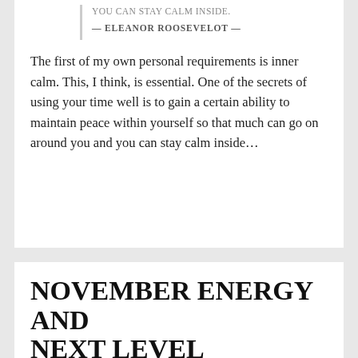YOU CAN STAY CALM INSIDE.
— ELEANOR ROOSEVELOT —
The first of my own personal requirements is inner calm. This, I think, is essential. One of the secrets of using your time well is to gain a certain ability to maintain peace within yourself so that much can go on around you and you can stay calm inside…
NOVEMBER ENERGY AND NEXT LEVEL BLESSINGS
Posted November 7, 2021 - Energy, Faith, Holy Spirit
FAITH IN GOD WILL ELEVATE YOU TO NEXT-LEVEL BLESSINGS.
GERMANY KENT